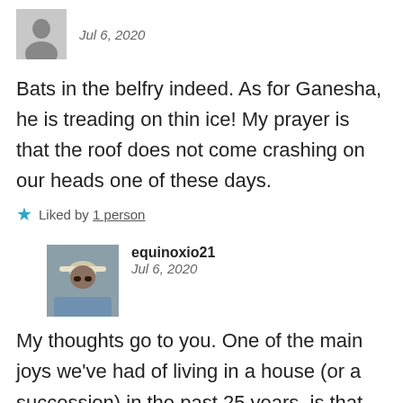[Figure (photo): Small black and white avatar photo of a person, Jul 6, 2020 date shown]
Bats in the belfry indeed. As for Ganesha, he is treading on thin ice! My prayer is that the roof does not come crashing on our heads one of these days.
Liked by 1 person
[Figure (photo): Color avatar photo of equinoxio21, a man wearing a hat and sunglasses]
My thoughts go to you. One of the main joys we've had of living in a house (or a succession) in the past 25 years, is that